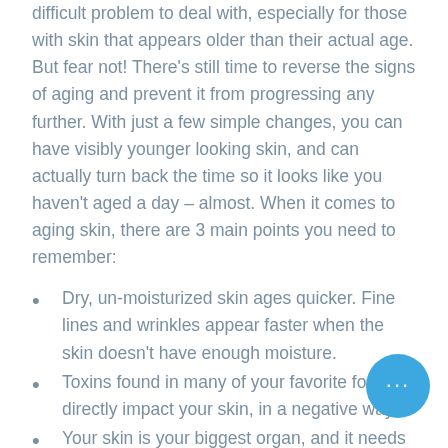difficult problem to deal with, especially for those with skin that appears older than their actual age. But fear not! There's still time to reverse the signs of aging and prevent it from progressing any further. With just a few simple changes, you can have visibly younger looking skin, and can actually turn back the time so it looks like you haven't aged a day – almost. When it comes to aging skin, there are 3 main points you need to remember:
Dry, un-moisturized skin ages quicker. Fine lines and wrinkles appear faster when the skin doesn't have enough moisture.
Toxins found in many of your favorite foods directly impact your skin, in a negative way.
Your skin is your biggest organ, and it needs just as many vitamins and minerals to look and feel great as every other part of your body!
The following 10 habits revolve around these main ideas. Defy your age by making these simple changes a part of